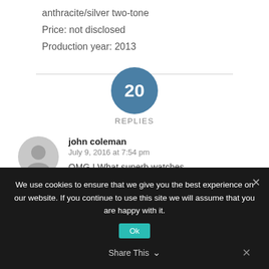anthracite/silver two-tone
Price: not disclosed
Production year: 2013
20 REPLIES
john coleman
July 9, 2016 at 7:54 pm
OMG ! What superb watches.
Reply
GaryG
We use cookies to ensure that we give you the best experience on our website. If you continue to use this site we will assume that you are happy with it.
Ok
Share This